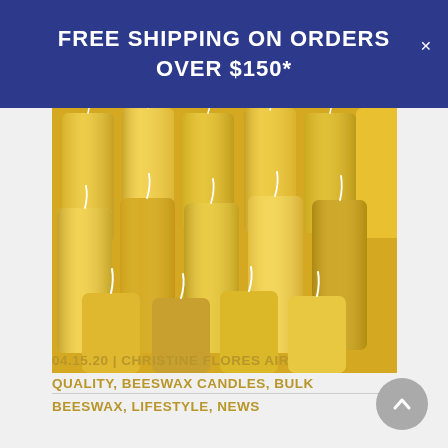FREE SHIPPING ON ORDERS OVER $150*
[Figure (photo): Close-up photo of multiple yellow beeswax pillar candles with white wicks, arranged tightly together, viewed from above at a slight angle.]
04.15.20  |  CHRISTINE FLORES AIR QUALITY, BEESWAX CANDLES, BULK BEESWAX, LIFESTYLE, NEWS